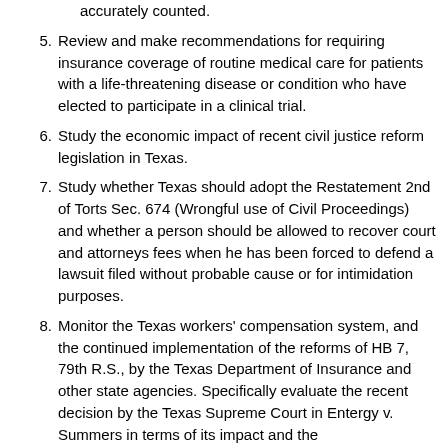accurately counted.
5. Review and make recommendations for requiring insurance coverage of routine medical care for patients with a life-threatening disease or condition who have elected to participate in a clinical trial.
6. Study the economic impact of recent civil justice reform legislation in Texas.
7. Study whether Texas should adopt the Restatement 2nd of Torts Sec. 674 (Wrongful use of Civil Proceedings) and whether a person should be allowed to recover court and attorneys fees when he has been forced to defend a lawsuit filed without probable cause or for intimidation purposes.
8. Monitor the Texas workers' compensation system, and the continued implementation of the reforms of HB 7, 79th R.S., by the Texas Department of Insurance and other state agencies. Specifically evaluate the recent decision by the Texas Supreme Court in Entergy v. Summers in terms of its impact and the